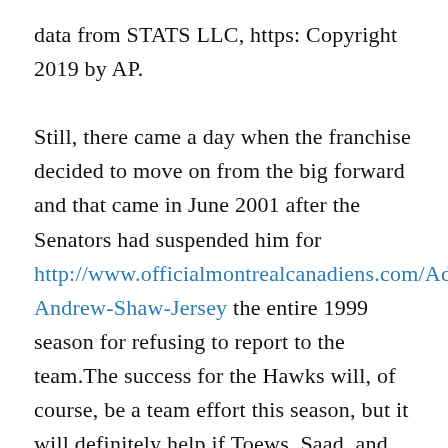data from STATS LLC, https: Copyright 2019 by AP. Still, there came a day when the franchise decided to move on from the big forward and that came in June 2001 after the Senators had suspended him for http://www.officialmontrealcanadiens.com/Adidas-Andrew-Shaw-Jersey the entire 1999 season for refusing to report to the team.The success for the Hawks will, of course, be a team effort this season, but it will definitely help if Toews, Saad, and Keith make a comeback.In 2018, she launched her latest tour with musician husband Neil Giraldo, their Almost II tour, and is on the road in 2019 with dates through at least July.- Betts, Benintendi, Martinez and Nunez all had a bit Candy later wrote a public